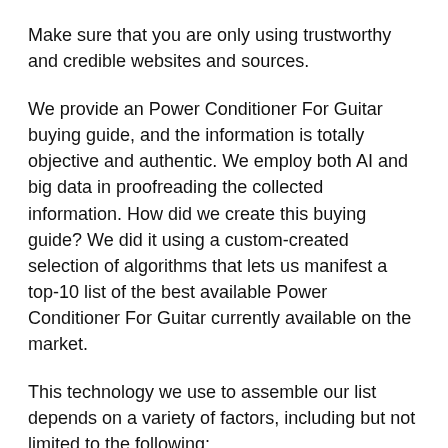Make sure that you are only using trustworthy and credible websites and sources.
We provide an Power Conditioner For Guitar buying guide, and the information is totally objective and authentic. We employ both AI and big data in proofreading the collected information. How did we create this buying guide? We did it using a custom-created selection of algorithms that lets us manifest a top-10 list of the best available Power Conditioner For Guitar currently available on the market.
This technology we use to assemble our list depends on a variety of factors, including but not limited to the following:
Brand Value: Every brand of Power Conditioner For Guitar has a value all its own. Most brands offer some sort of unique selling proposition that's supposed to